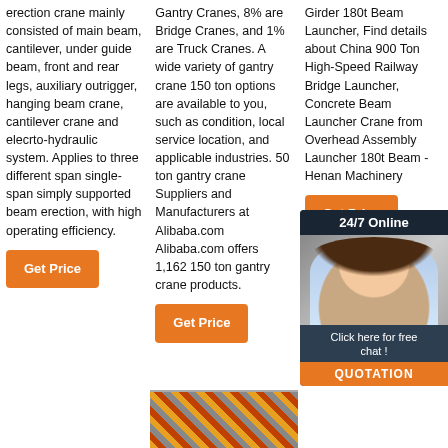erection crane mainly consisted of main beam, cantilever, under guide beam, front and rear legs, auxiliary outrigger, hanging beam crane, cantilever crane and elecrto-hydraulic system. Applies to three different span single-span simply supported beam erection, with high operating efficiency.
Gantry Cranes, 8% are Bridge Cranes, and 1% are Truck Cranes. A wide variety of gantry crane 150 ton options are available to you, such as condition, local service location, and applicable industries. 50 ton gantry crane Suppliers and Manufacturers at Alibaba.com Alibaba.com offers 1,162 150 ton gantry crane products.
Girder 180t Beam Launcher, Find details about China 900 Ton High-Speed Railway Bridge Launcher, Concrete Beam Launcher Crane from Overhead Assembly Launcher 180t Beam - Henan Machinery
[Figure (infographic): 24/7 Online chat widget with woman wearing headset, blue background, orange QUOTATION button and 'Click here for free chat!' text]
Get Price (column 1 button)
Get Price (column 3 button)
Get Price (column 2 button)
[Figure (infographic): TOP scroll-to-top button with orange dots arch above TOP text and circle with up arrow]
[Figure (photo): Partial image of crane machinery with orange and red elements at bottom of page]